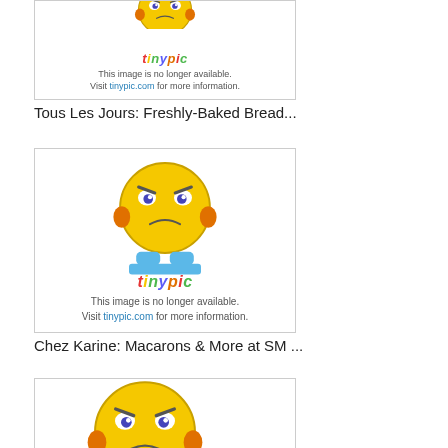[Figure (illustration): Tinypic placeholder image showing an angry emoji character with 'tinypic' logo and message: This image is no longer available. Visit tinypic.com for more information.]
Tous Les Jours: Freshly-Baked Bread...
[Figure (illustration): Tinypic placeholder image showing an angry emoji character with 'tinypic' logo and message: This image is no longer available. Visit tinypic.com for more information.]
Chez Karine: Macarons & More at SM ...
[Figure (illustration): Tinypic placeholder image showing an angry emoji character (partially visible, cropped at bottom of page).]